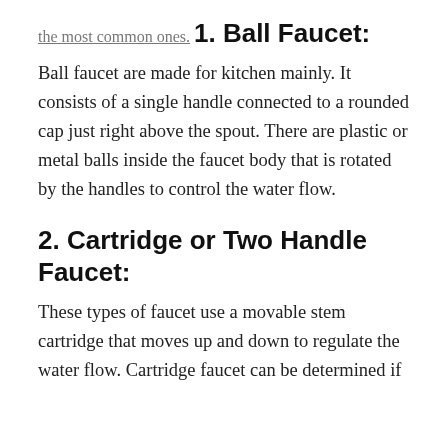the most common ones.
1. Ball Faucet:
Ball faucet are made for kitchen mainly. It consists of a single handle connected to a rounded cap just right above the spout. There are plastic or metal balls inside the faucet body that is rotated by the handles to control the water flow.
2. Cartridge or Two Handle Faucet:
These types of faucet use a movable stem cartridge that moves up and down to regulate the water flow. Cartridge faucet can be determined if